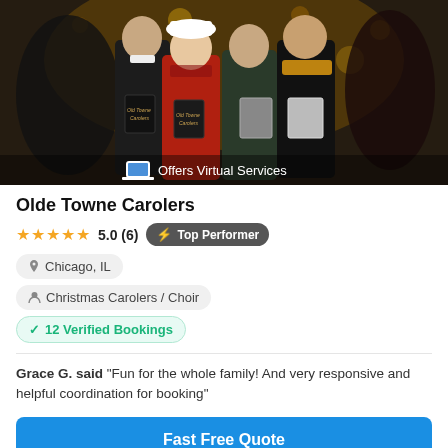[Figure (photo): Four Christmas carolers in Victorian costumes holding song books outdoors near holiday lights. They wear black robes and festive accessories. A woman in the center wears a white hat and red dress.]
Olde Towne Carolers
★★★★★ 5.0 (6) ⚡ Top Performer
📍 Chicago, IL
Christmas Carolers / Choir
✓ 12 Verified Bookings
Grace G. said "Fun for the whole family! And very responsive and helpful coordination for booking"
Fast Free Quote